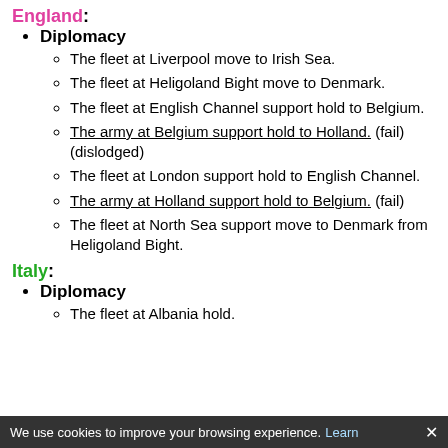England:
Diplomacy
The fleet at Liverpool move to Irish Sea.
The fleet at Heligoland Bight move to Denmark.
The fleet at English Channel support hold to Belgium.
The army at Belgium support hold to Holland. (fail) (dislodged)
The fleet at London support hold to English Channel.
The army at Holland support hold to Belgium. (fail)
The fleet at North Sea support move to Denmark from Heligoland Bight.
Italy:
Diplomacy
The fleet at Albania hold.
We use cookies to improve your browsing experience. Learn ✕